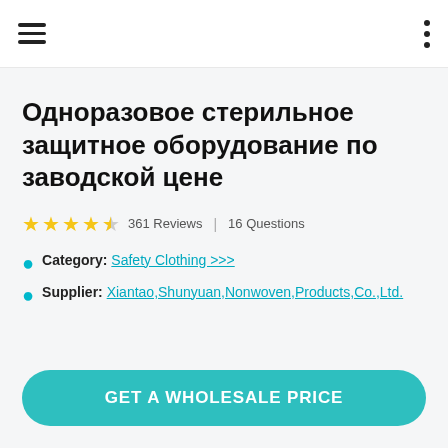Одноразовое стерильное защитное оборудование по заводской цене
★★★★½ 361 Reviews | 16 Questions
Category: Safety Clothing >>>
Supplier: Xiantao,Shunyuan,Nonwoven,Products,Co.,Ltd.
GET A WHOLESALE PRICE